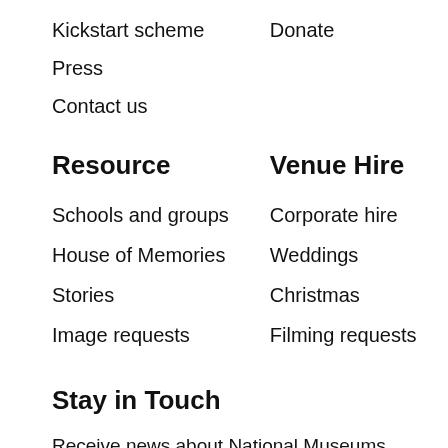Kickstart scheme
Donate
Press
Contact us
Resource
Venue Hire
Schools and groups
Corporate hire
House of Memories
Weddings
Stories
Christmas
Image requests
Filming requests
Stay in Touch
Receive news about National Museums Liverpool, exhibitions, events and more.